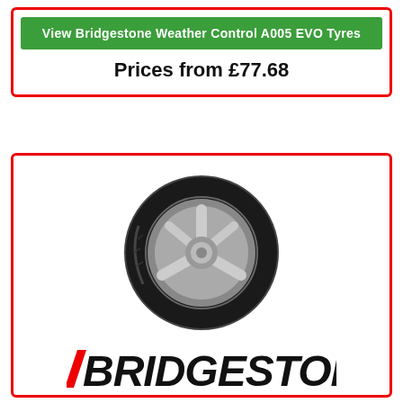View Bridgestone Weather Control A005 EVO Tyres
Prices from £77.68
[Figure (photo): Bridgestone tyre product image showing a black tyre with silver alloy wheel]
[Figure (logo): Bridgestone brand logo in black and red italic text]
B250